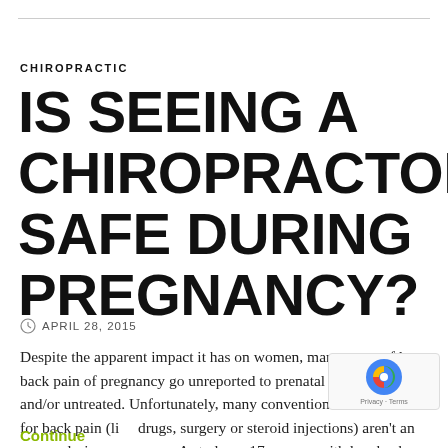CHIROPRACTIC
IS SEEING A CHIROPRACTOR SAFE DURING PREGNANCY?
APRIL 28, 2015
Despite the apparent impact it has on women, many cases of low back pain of pregnancy go unreported to prenatal providers and/or untreated. Unfortunately, many conventional treatments for back pain (like drugs, surgery or steroid injections) aren't an option during pregnancy. A study on 17 women with low back pain found that the intensity of … Continue